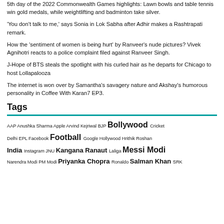5th day of the 2022 Commonwealth Games highlights: Lawn bowls and table tennis win gold medals, while weightlifting and badminton take silver.
'You don't talk to me,' says Sonia in Lok Sabha after Adhir makes a Rashtrapati remark.
How the 'sentiment of women is being hurt' by Ranveer's nude pictures? Vivek Agnihotri reacts to a police complaint filed against Ranveer Singh.
J-Hope of BTS steals the spotlight with his curled hair as he departs for Chicago to host Lollapalooza
The internet is won over by Samantha's savagery nature and Akshay's humorous personality in Coffee With Karan7 EP3.
Tags
AAP Anushka Sharma Apple Arvind Kejriwal BJP Bollywood Cricket Delhi EPL Facebook Football Google Hollywood Hrithik Roshan India Instagram JNU Kangana Ranaut Laliga Messi Modi Narendra Modi PM Modi Priyanka Chopra Ronaldo Salman Khan SRK